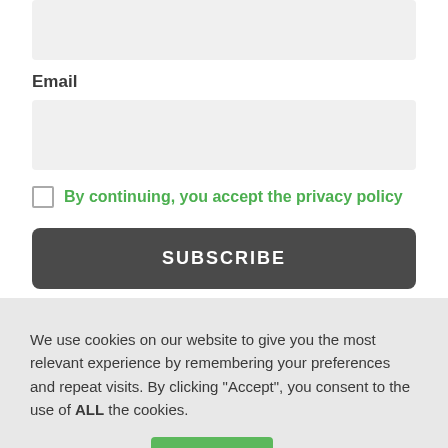[Figure (screenshot): Empty input field box at top of form]
Email
[Figure (screenshot): Email input field box]
By continuing, you accept the privacy policy
SUBSCRIBE
We use cookies on our website to give you the most relevant experience by remembering your preferences and repeat visits. By clicking "Accept", you consent to the use of ALL the cookies.
Cookie settings
ACCEPT